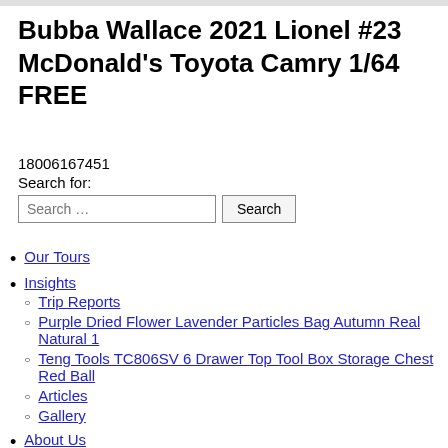Bubba Wallace 2021 Lionel #23 McDonald's Toyota Camry 1/64 FREE
18006167451
Search for:
Our Tours
Insights
Trip Reports
Purple Dried Flower Lavender Particles Bag Autumn Real Natural 1
Teng Tools TC806SV 6 Drawer Top Tool Box Storage Chest Red Ball
Articles
Gallery
About Us
Meet Raúl Arias de Para
Meet Our Team
Lambs Ivy Baby Love 4-Piece Crib Bumper - Pink, Gold, White, L
Environmental Initiatives
Social Responsibility